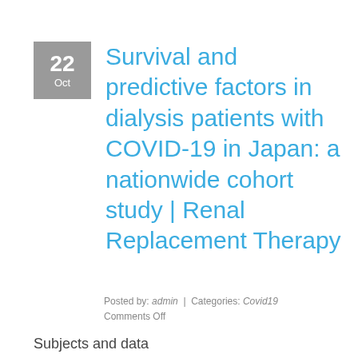Survival and predictive factors in dialysis patients with COVID-19 in Japan: a nationwide cohort study | Renal Replacement Therapy
Posted by: admin | Categories: Covid19 Comments Off
Subjects and data